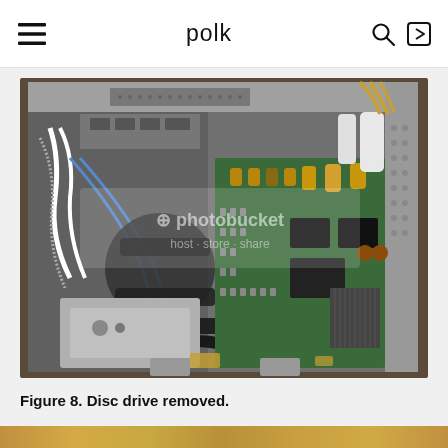polk
[Figure (photo): Interior view of an electronic device with the disc drive removed. Shows the internal chassis with a green PCB circuit board on the right side containing various components including capacitors, heat sinks, and IC chips. On the left side are cables, wiring harness, and the empty bay where the disc drive was. The metal chassis is gray/silver. A Photobucket watermark is visible on the image.]
Figure 8. Disc drive removed.